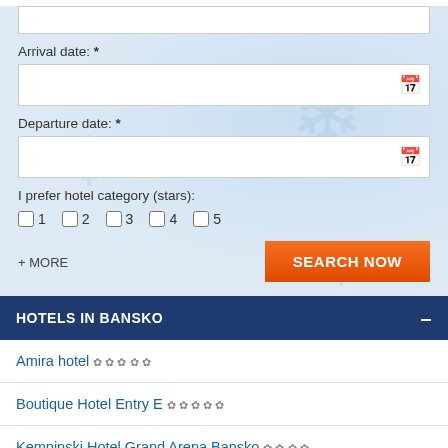Arrival date: *
Departure date: *
I prefer hotel category (stars):
1
2
3
4
5
+ MORE
HOTELS IN BANSKO
Amira hotel ✿✿✿✿✿
Boutique Hotel Entry E ✿✿✿✿✿
Kempinski Hotel Grand Arena Bansko ✿✿✿✿